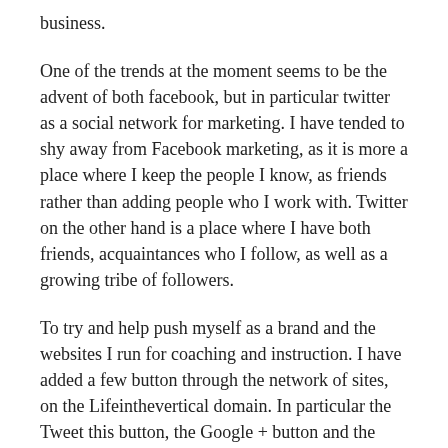business.
One of the trends at the moment seems to be the advent of both facebook, but in particular twitter as a social network for marketing. I have tended to shy away from Facebook marketing, as it is more a place where I keep the people I know, as friends rather than adding people who I work with. Twitter on the other hand is a place where I have both friends, acquaintances who I follow, as well as a growing tribe of followers.
To try and help push myself as a brand and the websites I run for coaching and instruction. I have added a few button through the network of sites, on the Lifeinthevertical domain. In particular the Tweet this button, the Google + button and the facebook like button, are all way that you can say to others in you social network, actually I quite like this and